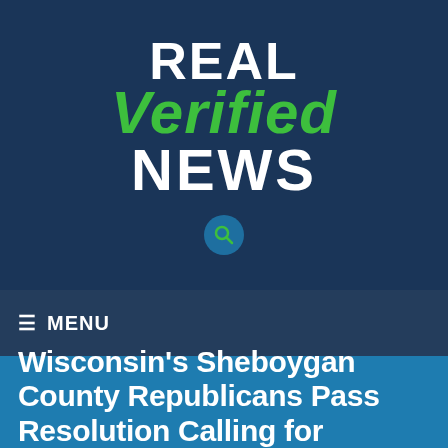[Figure (logo): Real Verified News logo with REAL and NEWS in white bold text and Verified in green italic bold text on dark navy background, with a search icon below]
≡ MENU
Wisconsin's Sheboygan County Republicans Pass Resolution Calling for